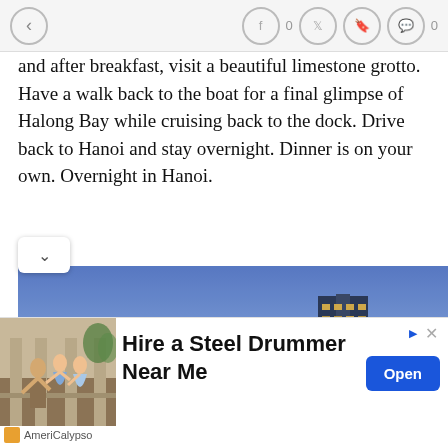← f 0 (twitter) (bookmark) (comment) 0
and after breakfast, visit a beautiful limestone grotto. Have a walk back to the boat for a final glimpse of Halong Bay while cruising back to the dock. Drive back to Hanoi and stay overnight. Dinner is on your own. Overnight in Hanoi.
[Figure (photo): Nighttime city skyline photo showing tall illuminated skyscrapers and buildings with a blue-purple dusk sky, city lights visible across the urban landscape.]
[Figure (photo): Advertisement image showing people dancing at what appears to be an outdoor event or party.]
Hire a Steel Drummer Near Me
AmeriCalypso